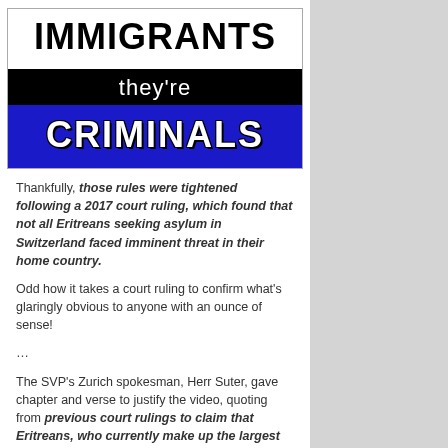[Figure (illustration): A two-part graphic: top white section reads 'IMMIGRANTS' in large black bold text; bottom section has a black bar with 'they're' in white, and below a dark blue background with 'CRIMINALS' in large white bold text.]
Thankfully, those rules were tightened following a 2017 court ruling, which found that not all Eritreans seeking asylum in Switzerland faced imminent threat in their home country.
Odd how it takes a court ruling to confirm what's glaringly obvious to anyone with an ounce of sense!
…
The SVP's Zurich spokesman, Herr Suter, gave chapter and verse to justify the video, quoting from previous court rulings to claim that Eritreans, who currently make up the largest group of asylum seekers in Switzerland, are not